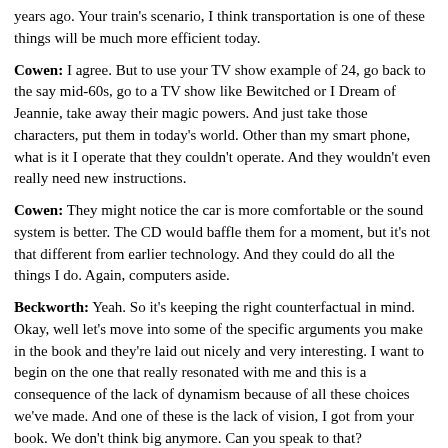years ago. Your train's scenario, I think transportation is one of these things will be much more efficient today.
Cowen: I agree. But to use your TV show example of 24, go back to the say mid-60s, go to a TV show like Bewitched or I Dream of Jeannie, take away their magic powers. And just take those characters, put them in today's world. Other than my smart phone, what is it I operate that they couldn't operate. And they wouldn't even really need new instructions.
Cowen: They might notice the car is more comfortable or the sound system is better. The CD would baffle them for a moment, but it's not that different from earlier technology. And they could do all the things I do. Again, computers aside.
Beckworth: Yeah. So it's keeping the right counterfactual in mind. Okay, well let's move into some of the specific arguments you make in the book and they're laid out nicely and very interesting. I want to begin on the one that really resonated with me and this is a consequence of the lack of dynamism because of all these choices we've made. And one of these is the lack of vision, I got from your book. We don't think big anymore. Can you speak to that?
We're Thinking Less Big
Cowen: In terms of grand projects, I feel our world has retreated. So science fiction today, so often it's about a dystopia, but in the 19th